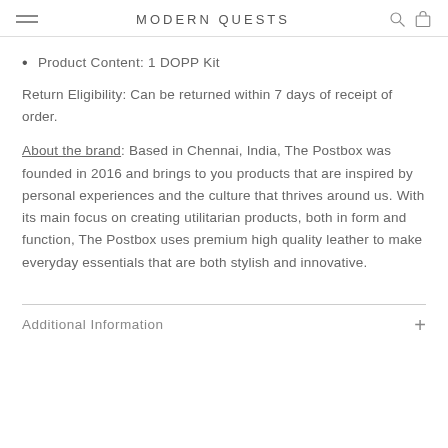MODERN QUESTS
Product Content: 1 DOPP Kit
Return Eligibility: Can be returned within 7 days of receipt of order.
About the brand: Based in Chennai, India, The Postbox was founded in 2016 and brings to you products that are inspired by personal experiences and the culture that thrives around us. With its main focus on creating utilitarian products, both in form and function, The Postbox uses premium high quality leather to make everyday essentials that are both stylish and innovative.
Additional Information